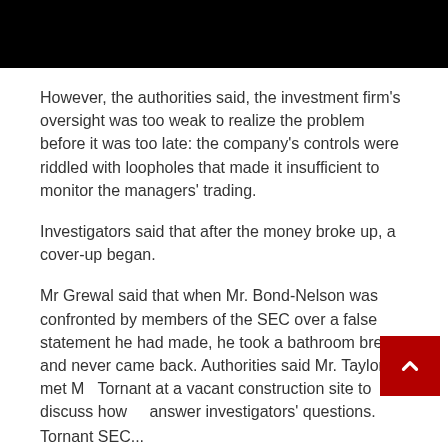[Figure (other): Black header bar image at top of page]
However, the authorities said, the investment firm’s oversight was too weak to realize the problem before it was too late: the company’s controls were riddled with loopholes that made it insufficient to monitor the managers’ trading.
Investigators said that after the money broke up, a cover-up began.
Mr Grewal said that when Mr. Bond-Nelson was confronted by members of the SEC over a false statement he had made, he took a bathroom break and never came back. Authorities said Mr. Taylor met Mr. Tornant at a vacant construction site to discuss how to answer investigators’ questions.
Tornant SEC...